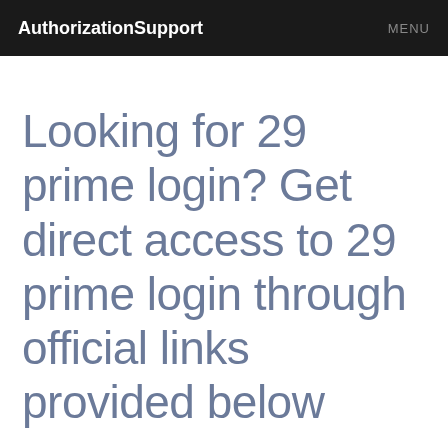AuthorizationSupport  MENU
Looking for 29 prime login? Get direct access to 29 prime login through official links provided below
Go to 29 prime login page via official link below